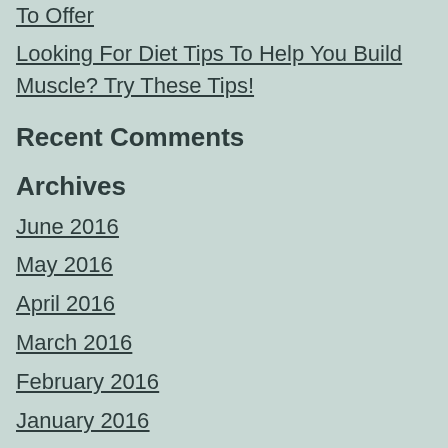To Offer
Looking For Diet Tips To Help You Build Muscle? Try These Tips!
Recent Comments
Archives
June 2016
May 2016
April 2016
March 2016
February 2016
January 2016
December 2015